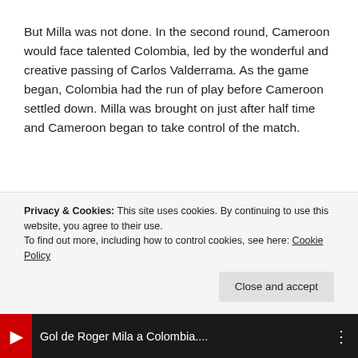But Milla was not done. In the second round, Cameroon would face talented Colombia, led by the wonderful and creative passing of Carlos Valderrama. As the game began, Colombia had the run of play before Cameroon settled down. Milla was brought on just after half time and Cameroon began to take control of the match.
Privacy & Cookies: This site uses cookies. By continuing to use this website, you agree to their use.
To find out more, including how to control cookies, see here: Cookie Policy
Close and accept
[Figure (screenshot): YouTube video thumbnail bar showing 'Gol de Roger Mila a Colombia...' with red YouTube logo icon and three-dots menu]